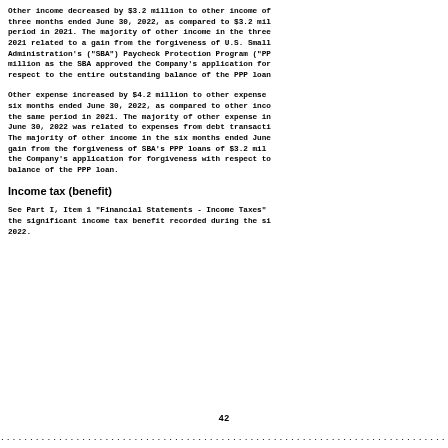Other income decreased by $3.2 million to other income of three months ended June 30, 2022, as compared to $3.2 mil period in 2021. The majority of other income in the three 2021 related to a gain from the forgiveness of U.S. Small Administration's ("SBA") Paycheck Protection Program ("PP million as the SBA approved the Company's application for respect to the entire outstanding balance of the PPP loan
Other expense increased by $4.2 million to other expense six months ended June 30, 2022, as compared to other inco the same period in 2021. The majority of other expense in June 30, 2022 was related to expenses from debt transacti The majority of other income in the six months ended June gain from the forgiveness of SBA's PPP loans of $3.2 mil the Company's application for forgiveness with respect to balance of the PPP loan.
Income tax (benefit)
See Part I, Item 1 "Financial Statements - Income Taxes" the significant income tax benefit recorded during the si 2022.
42
...............................................................